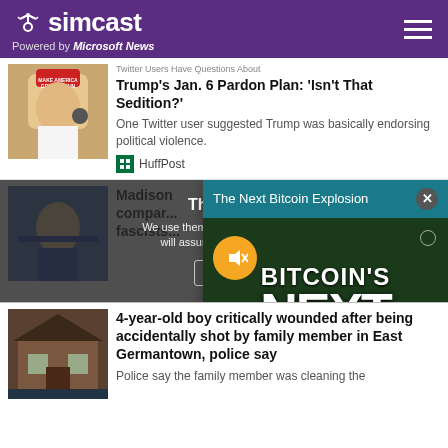simcast — Powered by Microsoft News
Twitter Users Have Questions About Trump's Jan. 6 Pardon Plan: 'Isn't That Sedition?'
One Twitter user suggested Trump was basically endorsing political violence.
HuffPost
Madison... compar... fascists...
[Figure (screenshot): Ad popup: The Next Bitcoin Explosion with BITCOIN'S NEXT BIG EXPLOSION text on dark green background]
This we...
We use them to give you the be... will assume that you are...
4-year-old boy critically wounded after being accidentally shot by family member in East Germantown, police say
Police say the family member was cleaning the